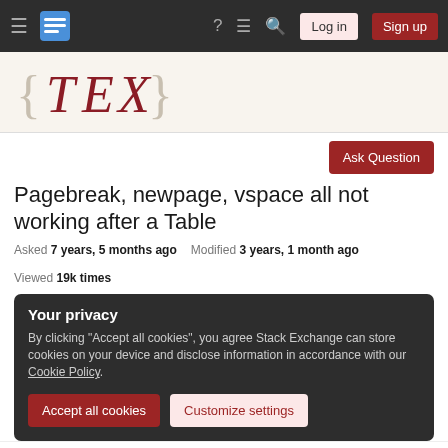Stack Exchange navigation bar with hamburger menu, logo, help, chat, search icons, Log in and Sign up buttons
[Figure (logo): TeX Stack Exchange logo: {TeX} in dark red serif font on cream background]
Ask Question
Pagebreak, newpage, vspace all not working after a Table
Asked 7 years, 5 months ago   Modified 3 years, 1 month ago   Viewed 19k times
Your privacy
By clicking "Accept all cookies", you agree Stack Exchange can store cookies on your device and disclose information in accordance with our Cookie Policy.
Accept all cookies   Customize settings
All these commands have been used in other parts